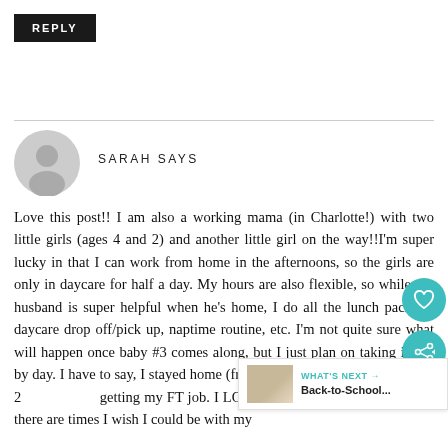REPLY
SARAH SAYS
Love this post!! I am also a working mama (in Charlotte!) with two little girls (ages 4 and 2) and another little girl on the way!!I'm super lucky in that I can work from home in the afternoons, so the girls are only in daycare for half a day. My hours are also flexible, so while my husband is super helpful when he's home, I do all the lunch packing, daycare drop off/pick up, naptime routine, etc. I'm not quite sure what will happen once baby #3 comes along, but I just plan on taking it day by day. I have to say, I stayed home (freelancing) until my daughter was 2 getting my FT job. I LOVE being a working mom! Sure, there are times I wish I could be with my